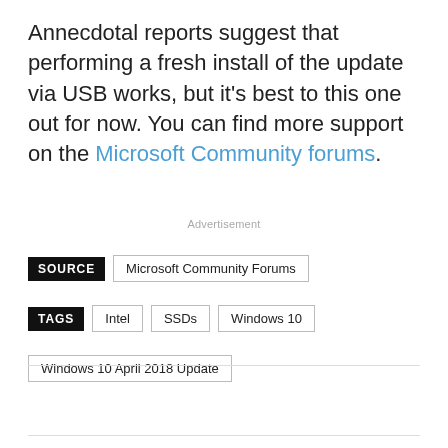Annecdotal reports suggest that performing a fresh install of the update via USB works, but it's best to this one out for now. You can find more support on the Microsoft Community forums.
Advertisement
SOURCE   Microsoft Community Forums
TAGS   Intel   SSDs   Windows 10
Windows 10 April 2018 Update